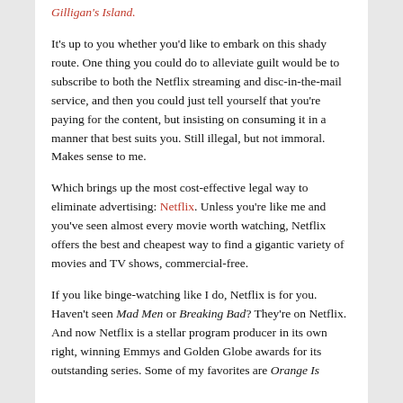Gilligan's Island.
It's up to you whether you'd like to embark on this shady route. One thing you could do to alleviate guilt would be to subscribe to both the Netflix streaming and disc-in-the-mail service, and then you could just tell yourself that you're paying for the content, but insisting on consuming it in a manner that best suits you. Still illegal, but not immoral. Makes sense to me.
Which brings up the most cost-effective legal way to eliminate advertising: Netflix. Unless you're like me and you've seen almost every movie worth watching, Netflix offers the best and cheapest way to find a gigantic variety of movies and TV shows, commercial-free.
If you like binge-watching like I do, Netflix is for you. Haven't seen Mad Men or Breaking Bad? They're on Netflix. And now Netflix is a stellar program producer in its own right, winning Emmys and Golden Globe awards for its outstanding series. Some of my favorites are Orange Is